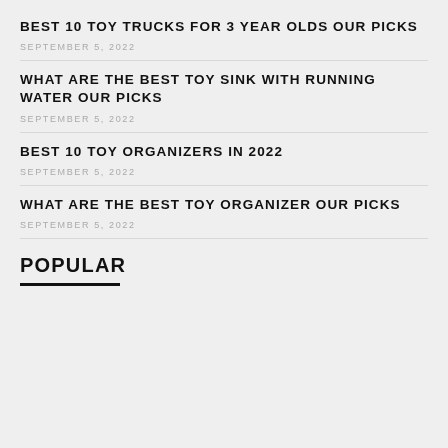BEST 10 TOY TRUCKS FOR 3 YEAR OLDS OUR PICKS
SEPTEMBER 5, 2022
WHAT ARE THE BEST TOY SINK WITH RUNNING WATER OUR PICKS
SEPTEMBER 5, 2022
BEST 10 TOY ORGANIZERS IN 2022
SEPTEMBER 5, 2022
WHAT ARE THE BEST TOY ORGANIZER OUR PICKS
SEPTEMBER 5, 2022
POPULAR